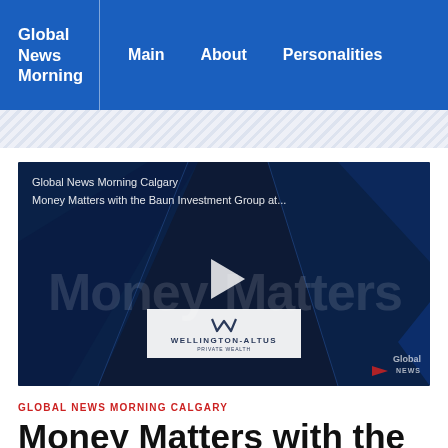Global News Morning | Main | About | Personalities
[Figure (screenshot): Video thumbnail for 'Global News Morning Calgary – Money Matters with the Baun Investment Group at...' showing dark blue geometric background with large watermark text 'Money Matters', a play button, Wellington-Altus Private Wealth logo, and Global News watermark.]
GLOBAL NEWS MORNING CALGARY
Money Matters with the Baun